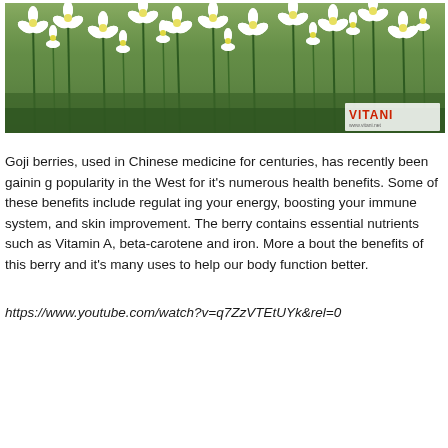[Figure (photo): A photograph of white wildflowers (star-shaped, small white petals) growing among tall green stems and grass, with a VITANI logo watermark in the bottom-right corner.]
Goji berries, used in Chinese medicine for centuries, has recently been gaining popularity in the West for it's numerous health benefits. Some of these benefits include regulating your energy, boosting your immune system, and skin improvement. The berry contains essential nutrients such as Vitamin A, beta-carotene and iron. More about the benefits of this berry and it's many uses to help our body function better.
https://www.youtube.com/watch?v=q7ZzVTEtUYk&rel=0